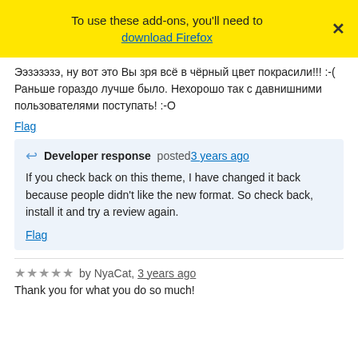To use these add-ons, you'll need to download Firefox
Эээзэзэз, ну вот это Вы зря всё в чёрный цвет покрасили!!! :-( Раньше гораздо лучше было. Нехорошо так с давнишними пользователями поступать! :-О
Flag
Developer response posted 3 years ago
If you check back on this theme, I have changed it back because people didn't like the new format. So check back, install it and try a review again.
Flag
★★★★★ by NyaCat, 3 years ago
Thank you for what you do so much!